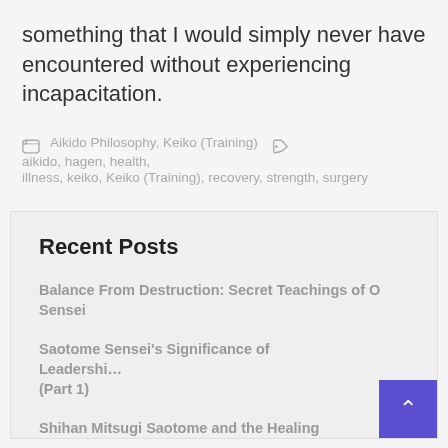something that I would simply never have encountered without experiencing incapacitation.
Aikido Philosophy, Keiko (Training)  aikido, hagen, health, illness, keiko, Keiko (Training), recovery, strength, surgery
Recent Posts
Balance From Destruction: Secret Teachings of O Sensei
Saotome Sensei's Significance of Leadership (Part 1)
Shihan Mitsugi Saotome and the Healing